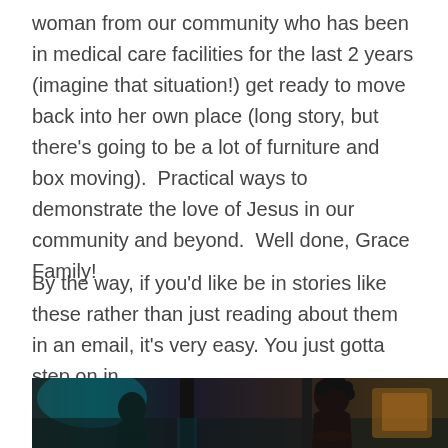woman from our community who has been in medical care facilities for the last 2 years (imagine that situation!) get ready to move back into her own place (long story, but there's going to be a lot of furniture and box moving).  Practical ways to demonstrate the love of Jesus in our community and beyond.  Well done, Grace Family!
By the way, if you'd like be in stories like these rather than just reading about them in an email, it's very easy. You just gotta step on in.
[Figure (photo): A dark indoor or nighttime scene showing people, with one person with curly hair visible from behind, and what appears to be moving or loading activity. Teal/cyan light visible on left, warm tones on right.]